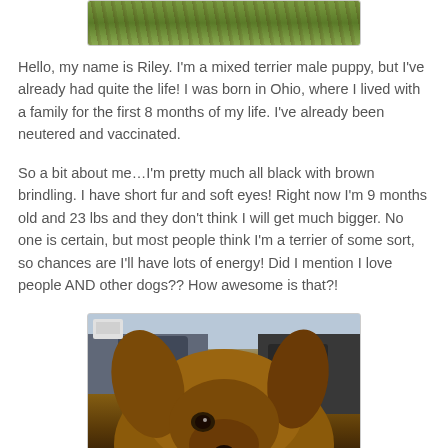[Figure (photo): Partial photo of a dog or animal outdoors on green grass, cropped at top of page]
Hello, my name is Riley. I'm a mixed terrier male puppy, but I've already had quite the life! I was born in Ohio, where I lived with a family for the first 8 months of my life. I've already been neutered and vaccinated.
So a bit about me…I'm pretty much all black with brown brindling. I have short fur and soft eyes! Right now I'm 9 months old and 23 lbs and they don't think I will get much bigger. No one is certain, but most people think I'm a terrier of some sort, so chances are I'll have lots of energy! Did I mention I love people AND other dogs?? How awesome is that?!
[Figure (photo): Close-up photo of Riley the dog inside a car, showing the dog's face and ears from above, with car interior (steering wheel, dashboard) visible in background]